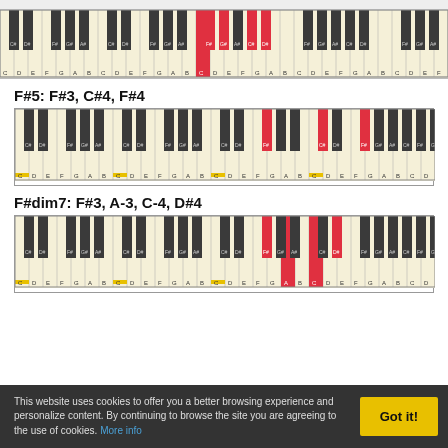[Figure (illustration): Piano keyboard diagram showing highlighted keys for a chord (partial view at top of page), with red highlighted keys on C and D#]
F#5: F#3, C#4, F#4
[Figure (illustration): Piano keyboard diagram for F#5 chord showing F#3, C#4, F#4 highlighted in red]
F#dim7: F#3, A-3, C-4, D#4
[Figure (illustration): Piano keyboard diagram for F#dim7 chord showing F#3, A-3, C-4, D#4 highlighted in red and yellow]
This website uses cookies to offer you a better browsing experience and personalize content. By continuing to browse the site you are agreeing to the use of cookies. More info
Got it!